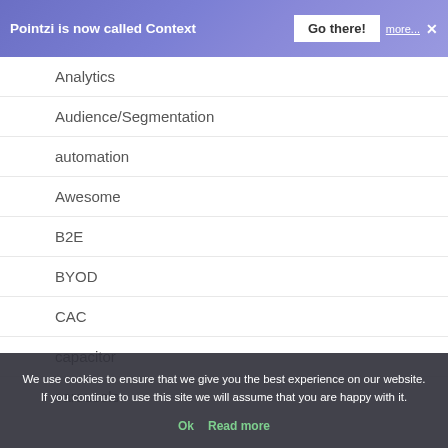Pointzi is now called Context  Go there!  more...  ×
Analytics
Audience/Segmentation
automation
Awesome
B2E
BYOD
CAC
capacitor
carousels
checklists
coachmarks
Cognition
We use cookies to ensure that we give you the best experience on our website. If you continue to use this site we will assume that you are happy with it.
Ok  Read more